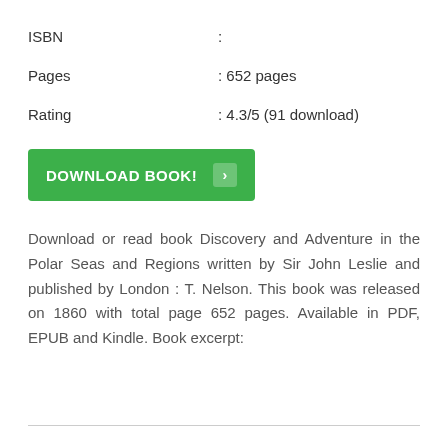ISBN :
Pages : 652 pages
Rating : 4.3/5 (91 download)
[Figure (other): Green download button with text DOWNLOAD BOOK! and an arrow icon]
Download or read book Discovery and Adventure in the Polar Seas and Regions written by Sir John Leslie and published by London : T. Nelson. This book was released on 1860 with total page 652 pages. Available in PDF, EPUB and Kindle. Book excerpt: